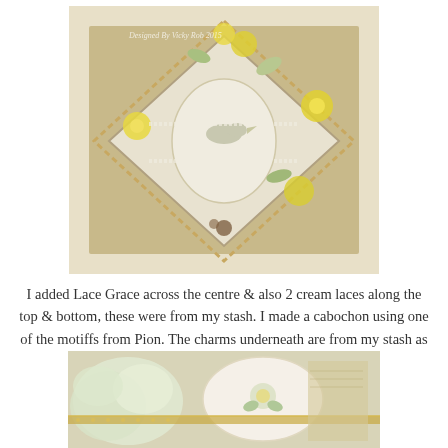[Figure (photo): A decorative handmade card or craft piece arranged in a diamond shape, featuring yellow flowers, cream lace, a dove motif in the center, and various embellishments on a tan/burlap background. Watermark reads 'Designed By Vicky Rob 2015'.]
I added Lace Grace across the centre & also 2 cream laces along the top & bottom, these were from my stash. I made a cabochon using one of the motiffs from Pion. The charms underneath are from my stash as is the seam binding.
[Figure (photo): Close-up photo of a craft piece showing cream/green ruffled fabric, a floral embroidered motif on white, and golden lace trim against a soft background.]